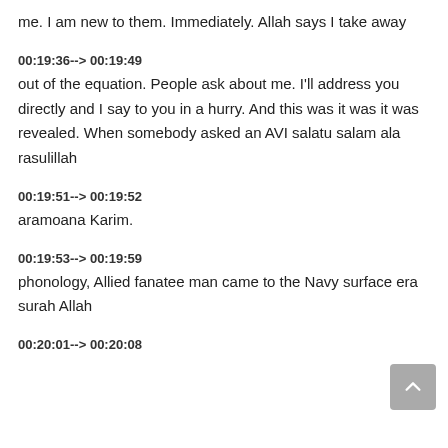me. I am new to them. Immediately. Allah says I take away
00:19:36--> 00:19:49
out of the equation. People ask about me. I'll address you directly and I say to you in a hurry. And this was it was it was revealed. When somebody asked an AVI salatu salam ala rasulillah
00:19:51--> 00:19:52
aramoana Karim.
00:19:53--> 00:19:59
phonology, Allied fanatee man came to the Navy surface era surah Allah
00:20:01--> 00:20:08